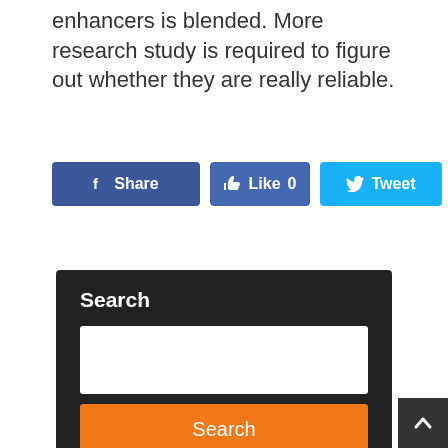enhancers is blended. More research study is required to figure out whether they are really reliable.
[Figure (screenshot): Social sharing buttons: f Share, Like 0 (Facebook), Tweet (Twitter), Pin it (Pinterest)]
Search
[Figure (screenshot): Search input box (white rectangle) and orange Search button]